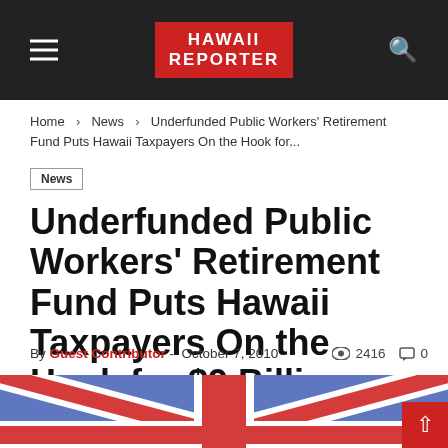HAWAII REPORTER
Home › News › Underfunded Public Workers' Retirement Fund Puts Hawaii Taxpayers On the Hook for...
News
Underfunded Public Workers' Retirement Fund Puts Hawaii Taxpayers On the Hook for $9 Billion
By Guest Contributor - October 7, 2010  2416  0
[Figure (photo): Blurred photo of a British Union Jack flag in red, white, and blue]